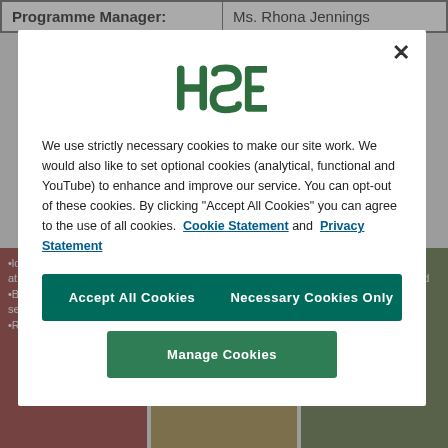| Programme Manager: | Ms. Rhona Jennings |
| --- | --- |
[Figure (other): HSE (Health Service Executive) cookie consent modal dialog with logo, cookie preference text, and three buttons: Accept All Cookies, Necessary Cookies Only, Manage Cookies]
We use strictly necessary cookies to make our site work. We would also like to set optional cookies (analytical, functional and YouTube) to enhance and improve our service. You can opt-out of these cookies. By clicking “Accept All Cookies” you can agree to the use of all cookies. Cookie Statement and Privacy Statement
•lower rates of suicidality at entry into services •Better engagments with services and treatments •Reduced rates of
• Better service users and carer satisfaction
•Less time in hospital •Lower suicide rates and mortality from other causes